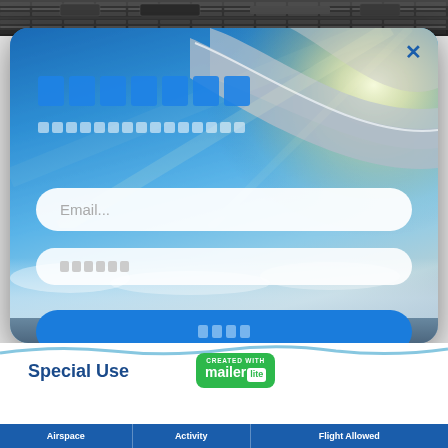[Figure (screenshot): A modal popup newsletter signup form overlaid on a sky/airplane wing photograph. The modal has a rounded rectangle with a blue background showing an airplane wing in sky with clouds and sunlight. It contains a title in blue blocks, subtitle in white blocks, an Email input field, a second input field with placeholder blocks, and a blue submit button. A close (x) button appears top-right.]
Email...
Special Use
[Figure (logo): MailerLite badge: green rounded rectangle with 'CREATED WITH' in small text and 'mailer lite' in white bold text with 'lite' in a white badge on green background]
| Airspace | Activity | Flight Allowed |
| --- | --- | --- |